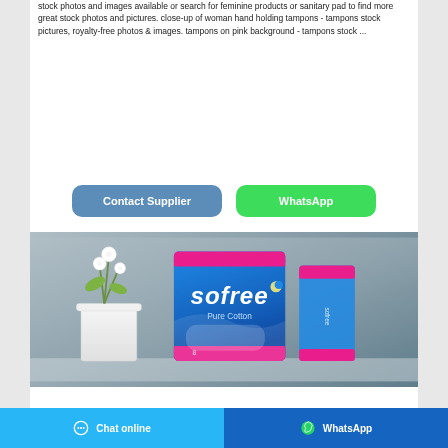stock photos and images available or search for feminine products or sanitary pad to find more great stock photos and pictures. close-up of woman hand holding tampons - tampons stock pictures, royalty-free photos & images. tampons on pink background - tampons stock ...
[Figure (other): Two buttons: 'Contact Supplier' (blue/teal rounded button) and 'WhatsApp' (green rounded button)]
[Figure (photo): Product photo showing a Sofree Pure Cotton sanitary pad box in blue and pink packaging, displayed next to a white ceramic pot with white flowers, on a gray-blue background.]
Chat online   WhatsApp